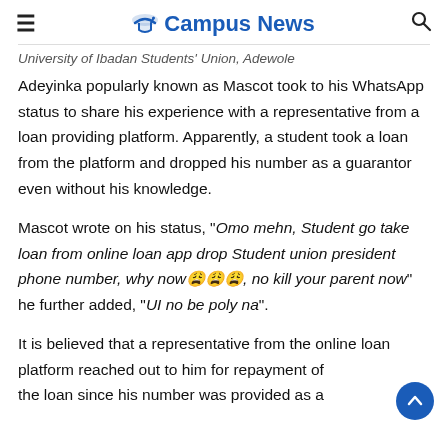Campus News
University of Ibadan Students' Union, Adewole Adeyinka popularly known as Mascot took to his WhatsApp status to share his experience with a representative from a loan providing platform. Apparently, a student took a loan from the platform and dropped his number as a guarantor even without his knowledge.
Mascot wrote on his status, "Omo mehn, Student go take loan from online loan app drop Student union president phone number, why now😩😩😩, no kill your parent now" he further added, "UI no be poly na".
It is believed that a representative from the online loan platform reached out to him for repayment of the loan since his number was provided as a